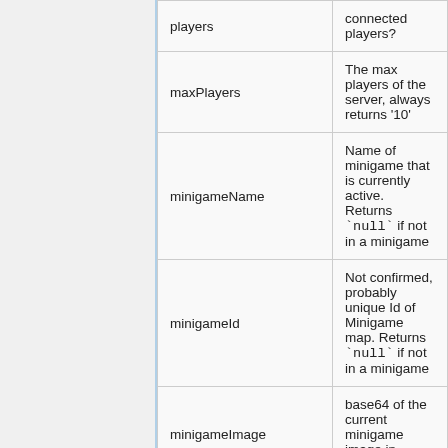| Field | Description |
| --- | --- |
| players | connected players? |
| maxPlayers | The max players of the server, always returns '10' |
| minigameName | Name of minigame that is currently active. Returns `null` if not in a minigame |
| minigameId | Not confirmed, probably unique Id of Minigame map. Returns `null` if not in a minigame |
| minigameImage | base64 of the current minigame image in format |